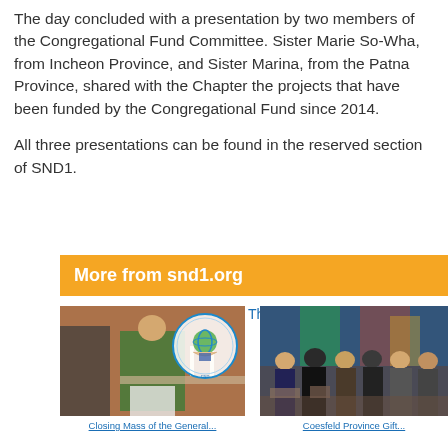The day concluded with a presentation by two members of the Congregational Fund Committee.  Sister Marie So-Wha, from Incheon Province, and Sister Marina, from the Patna Province, shared with the Chapter the projects that have been funded by the Congregational Fund since 2014.
All three presentations can be found in the reserved section of SND1.
More from snd1.org
[Figure (photo): Priest in green vestments standing at altar with candles and a chapter logo overlay showing hands holding a globe with a book, text 'Encountering the Word, Engaging the World']
Closing Mass of the General...
[Figure (photo): Group of sisters and people standing together indoors in front of colorful stained glass or artwork]
Coesfeld Province Gift...